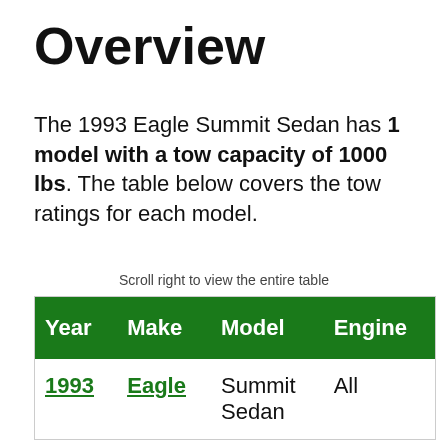Overview
The 1993 Eagle Summit Sedan has 1 model with a tow capacity of 1000 lbs. The table below covers the tow ratings for each model.
Scroll right to view the entire table
| Year | Make | Model | Engine |
| --- | --- | --- | --- |
| 1993 | Eagle | Summit Sedan | All |